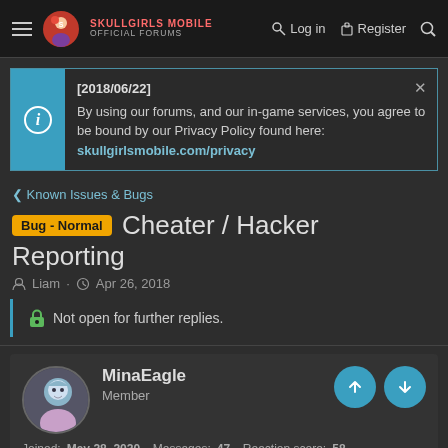Skullgirls Mobile Official Forums — Log in | Register
[2018/06/22] By using our forums, and our in-game services, you agree to be bound by our Privacy Policy found here: skullgirlsmobile.com/privacy
< Known Issues & Bugs
Bug - Normal  Cheater / Hacker Reporting
Liam · Apr 26, 2018
Not open for further replies.
MinaEagle
Member
Joined: May 28, 2020  Messages: 47  Reaction score: 58